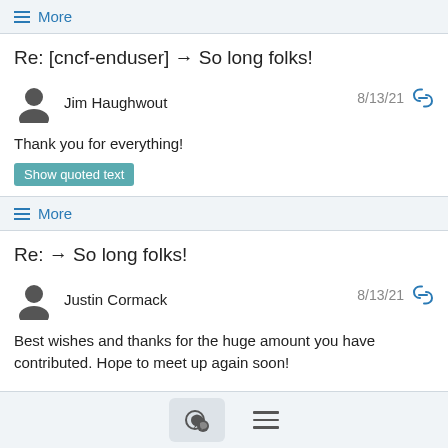≡ More
Re: [cncf-enduser] → So long folks!
Jim Haughwout 8/13/21
Thank you for everything!
Show quoted text
≡ More
Re: → So long folks!
Justin Cormack 8/13/21
Best wishes and thanks for the huge amount you have contributed. Hope to meet up again soon!